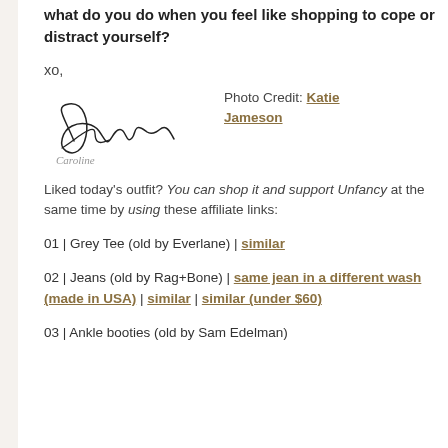what do you do when you feel like shopping to cope or distract yourself?
xo,
[Figure (illustration): Handwritten cursive signature reading 'Caroline']
Photo Credit: Katie Jameson
Liked today's outfit? You can shop it and support Unfancy at the same time by using these affiliate links:
01 | Grey Tee (old by Everlane) | similar
02 | Jeans (old by Rag+Bone) | same jean in a different wash (made in USA) | similar | similar (under $60)
03 | Ankle booties (old by Sam Edelman)